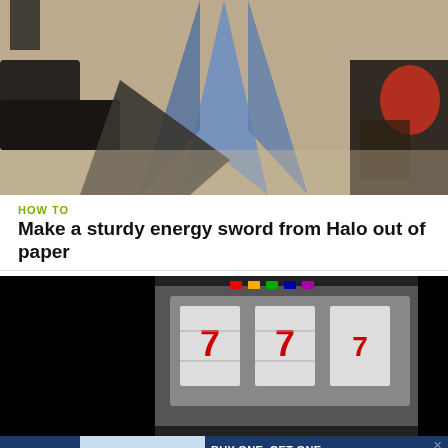[Figure (photo): Photo of paper folded into a sword shape on a carpeted floor with tools nearby]
HOW TO
Make a sturdy energy sword from Halo out of paper
[Figure (photo): Video thumbnail showing a slot machine and a man speaking]
[Figure (infographic): Petco advertisement: BUY ONE, GET ONE 50% OFF - Help support your dog's joints with a premium supplement. SHOP NOW button. Shows a woman with a golden retriever and a supplement bottle.]